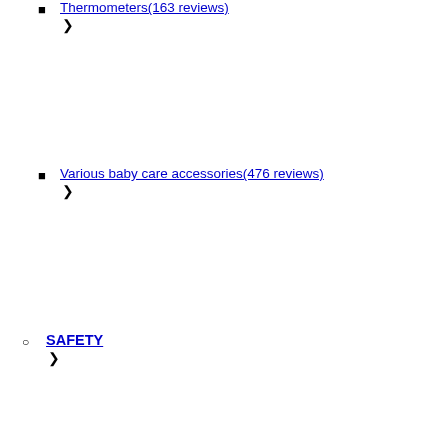Thermometers(163 reviews) >
Various baby care accessories(476 reviews) >
SAFETY >